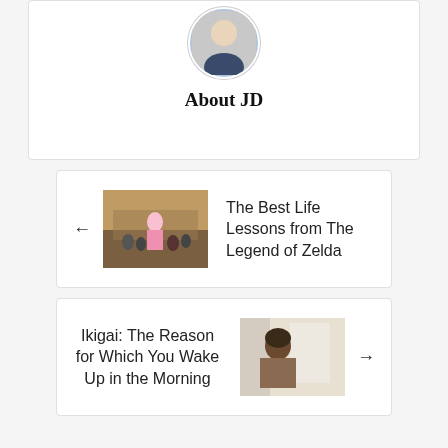[Figure (photo): Circular avatar/profile photo of a young man in a dark jacket]
About JD
[Figure (photo): Thumbnail photo of a woman in a pink outfit standing in a crowd]
The Best Life Lessons from The Legend of Zelda
Ikigai: The Reason for Which You Wake Up in the Morning
[Figure (photo): Thumbnail photo of a woman looking to the side near a window]